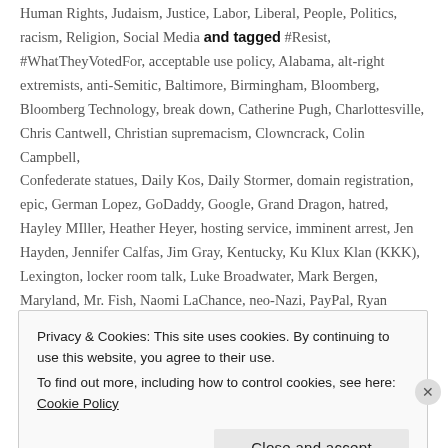Human Rights, Judaism, Justice, Labor, Liberal, People, Politics, racism, Religion, Social Media and tagged #Resist, #WhatTheyVotedFor, acceptable use policy, Alabama, alt-right extremists, anti-Semitic, Baltimore, Birmingham, Bloomberg, Bloomberg Technology, break down, Catherine Pugh, Charlottesville, Chris Cantwell, Christian supremacism, Clowncrack, Colin Campbell, Confederate statues, Daily Kos, Daily Stormer, domain registration, epic, German Lopez, GoDaddy, Google, Grand Dragon, hatred, Hayley MIller, Heather Heyer, hosting service, imminent arrest, Jen Hayden, Jennifer Calfas, Jim Gray, Kentucky, Ku Klux Klan (KKK), Lexington, locker room talk, Luke Broadwater, Mark Bergen, Maryland, Mr. Fish, Naomi LaChance, neo-Nazi, PayPal, Ryan Grenoble, tears, The Baltimore Sun, The Hill, The Huffington Post, Twitter, Virginia, Vox, white nationalist, white supremacist, William Bell
Privacy & Cookies: This site uses cookies. By continuing to use this website, you agree to their use. To find out more, including how to control cookies, see here: Cookie Policy
Close and accept